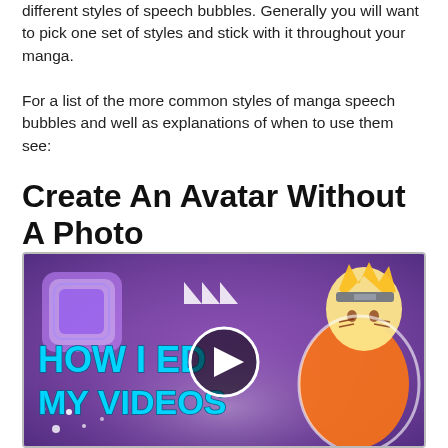different styles of speech bubbles. Generally you will want to pick one set of styles and stick with it throughout your manga.
For a list of the more common styles of manga speech bubbles and well as explanations of when to use them see:
Create An Avatar Without A Photo
[Figure (screenshot): Video thumbnail showing 'HOW I EDIT MY VIDEOS' text with anime character (Naruto) and a person, purple background with play button overlay]